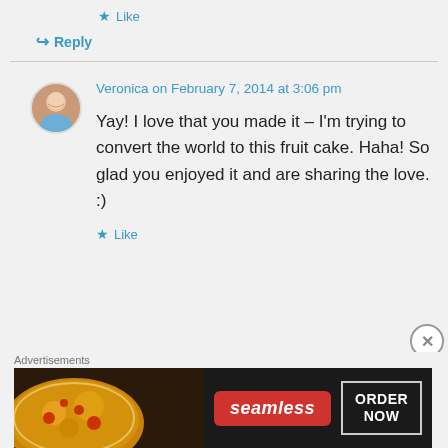★ Like
↪ Reply
Veronica on February 7, 2014 at 3:06 pm
Yay! I love that you made it – I'm trying to convert the world to this fruit cake. Haha! So glad you enjoyed it and are sharing the love. :)
★ Like
Advertisements
[Figure (screenshot): Seamless food delivery advertisement banner with pizza image on left, Seamless red logo in center, and ORDER NOW button on right]